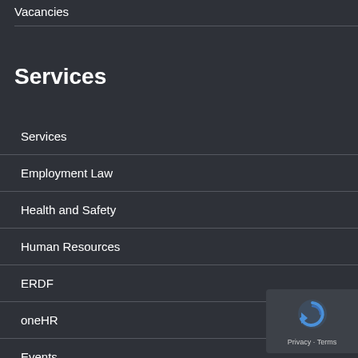Vacancies
Services
Services
Employment Law
Health and Safety
Human Resources
ERDF
oneHR
Events
[Figure (logo): reCAPTCHA badge with circular arrow icon and Privacy - Terms text]